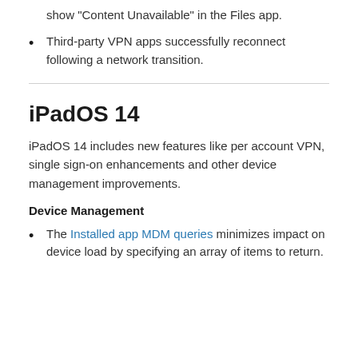show “Content Unavailable” in the Files app.
Third-party VPN apps successfully reconnect following a network transition.
iPadOS 14
iPadOS 14 includes new features like per account VPN, single sign-on enhancements and other device management improvements.
Device Management
The Installed app MDM queries minimizes impact on device load by specifying an array of items to return.